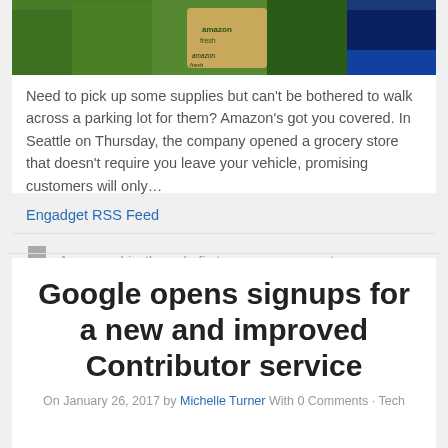[Figure (photo): Amazon Fresh delivery photo showing a person in a green uniform with Amazon Fresh branded bags near a vehicle]
Need to pick up some supplies but can't be bothered to walk across a parking lot for them? Amazon's got you covered. In Seattle on Thursday, the company opened a grocery store that doesn't require you leave your vehicle, promising customers will only…
Engadget RSS Feed
Amazon, drivethrough, first, grocery, opens, store
Google opens signups for a new and improved Contributor service
On January 26, 2017 by Michelle Turner With 0 Comments · Tech